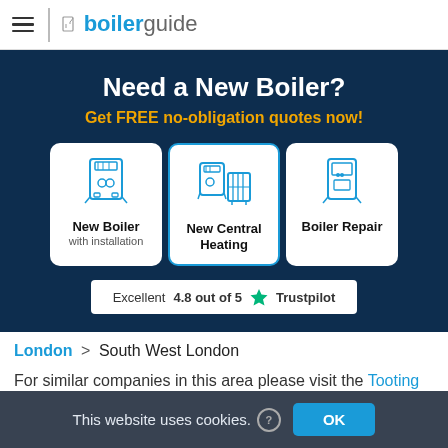boilerguide
Need a New Boiler?
Get FREE no-obligation quotes now!
[Figure (infographic): Three clickable service cards: New Boiler with installation, New Central Heating, Boiler Repair — each with a line-art icon of the respective appliance]
Excellent 4.8 out of 5 ★ Trustpilot
London > South West London
For similar companies in this area please visit the Tooting
This website uses cookies. ⓘ OK